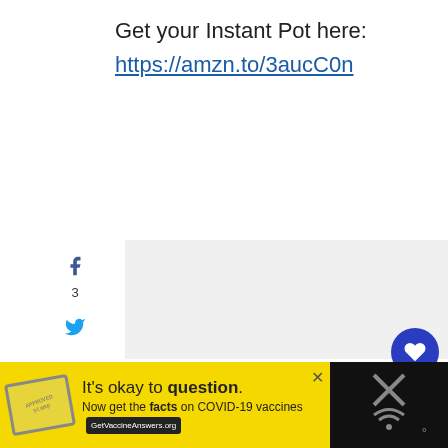Get your Instant Pot here:
https://amzn.to/3aucC0n
[Figure (infographic): Social sharing sidebar with Facebook (3), Twitter, Pinterest (40), Yummly icons and 43 SHARES total; right-side floating heart button with 70 count and share button]
[Figure (infographic): Bottom advertisement banner: 'It’s okay to question. Now get the facts on COVID-19 vaccines GetVaccineAnswers.org' on yellow background with stamp graphic, close button, and dark right section with X icon]